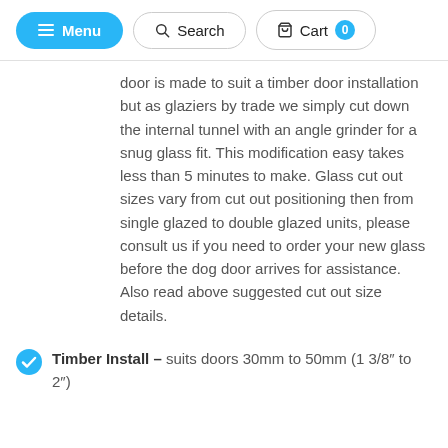Menu | Search | Cart 0
door is made to suit a timber door installation but as glaziers by trade we simply cut down the internal tunnel with an angle grinder for a snug glass fit. This modification easy takes less than 5 minutes to make. Glass cut out sizes vary from cut out positioning then from single glazed to double glazed units, please consult us if you need to order your new glass before the dog door arrives for assistance. Also read above suggested cut out size details.
Timber Install – suits doors 30mm to 50mm (1 3/8″ to 2″)